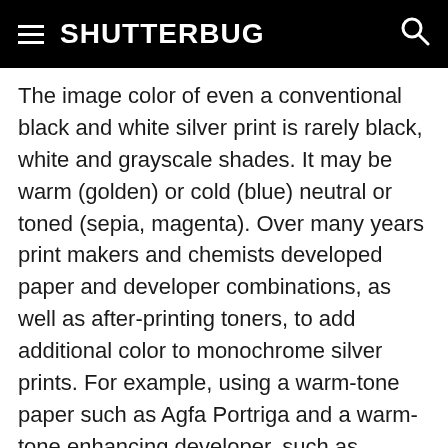SHUTTERBUG
The image color of even a conventional black and white silver print is rarely black, white and grayscale shades. It may be warm (golden) or cold (blue) neutral or toned (sepia, magenta). Over many years print makers and chemists developed paper and developer combinations, as well as after-printing toners, to add additional color to monochrome silver prints. For example, using a warm-tone paper such as Agfa Portriga and a warm-tone enhancing developer, such as Selectol Soft, could alter image color. This yielded brownish blacks and creamy whites. A cold-tone paper could be developed in Dektol and after fixing toned in a mild dilution of rapid selenium toner for added “snap”, resulting in a